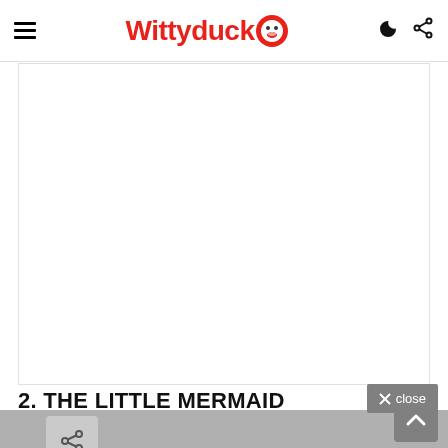Wittyduck
[Figure (other): White blank content area / advertisement placeholder]
2. THE LITTLE MERMAID
[Figure (other): Gray semi-transparent close button overlay with X close text]
[Figure (other): Share icon button at bottom left on gray bar]
[Figure (other): Scroll to top arrow button at bottom right]